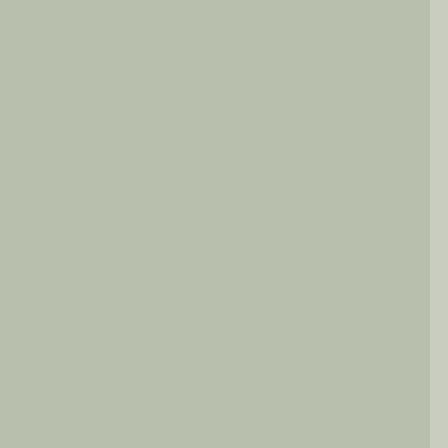Press Reports: Montreal Pilot - 25 September 1857
Press Reports: Montreal Pilot - 26 September 1857
Press Reports: Montreal Pilot - 28 September 1857
Press Reports: Montreal Pilot - 30 September 1857
Press Reports: Morning Freeman - 10 July 1860
Press Reports: Morning Freeman - 11 August 1860
Press Reports: Morning Freeman - 13 September 1860
Press Reports: Morning Freeman - 14 August 1860
Press Reports: Morning Freeman - 16 October 1860
Press Reports: Morning Freeman - 27 September 1860
Press Reports: Morning Freeman - 39 September 1860
Press Reports: New York Herald - 19 November 1888
Press Reports: New York Herald - 20 November 1888
Press Reports: New York Herald - 21 November 1888
Press Reports: New York Herald - 26 June 1903
Press Reports: New York Herald - 4 December 1888
Press Reports: New York Times - 10 June 1865
Press Reports: New York Times - 19 November 1888
Press Reports: New York Times - 23 November 1888
Press Reports: New York Times - 26 June 1903
Press Reports: New York Times - 4 December 1888
Press Reports: New York Times - 5 May 1865
Press Reports: New York Times - 7 May 1865
Press Reports: New York Tribune - 4 December 1888
Press Reports: New York World - 19 November 1888
Press Reports: New York World - 2 December 1888
Press Reports: New York World - 4 December 1888
Press Reports: New York World - 5 December 1888
Press Reports: New York World - 6 December 1888
Press Reports: Newark Daily Advocate - 30 May 1903
Press Reports: Oakland Daily Evening Tribune - 8 Decem
Press Reports: Olean Democrat - 3 January 1889